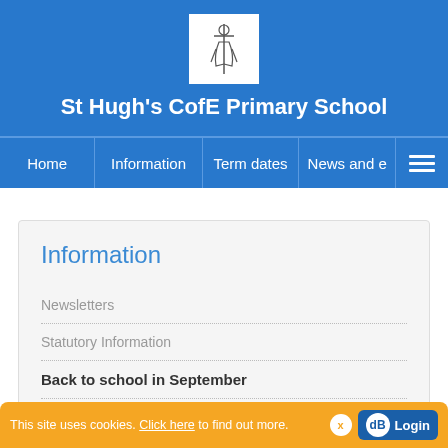[Figure (logo): St Hugh's CofE Primary School logo - small sketch of a figure on white background]
St Hugh's CofE Primary School
Home | Information | Term dates | News and ...
Information
Newsletters
Statutory Information
Back to school in September
School Mission Statement
This site uses cookies. Click here to find out more. x dB Login